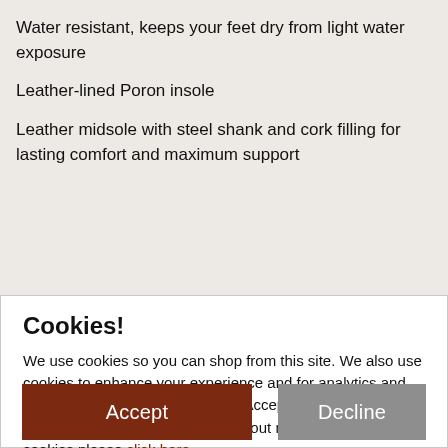Water resistant, keeps your feet dry from light water exposure
Leather-lined Poron insole
Leather midsole with steel shank and cork filling for lasting comfort and maximum support
Cookies!
We use cookies so you can shop from this site. We also use cookies to enhance your experience and for analytics and marketing purposes. By clicking "Accept" below, you are agreeing to these cookies. To find out more about our cookies please click here.